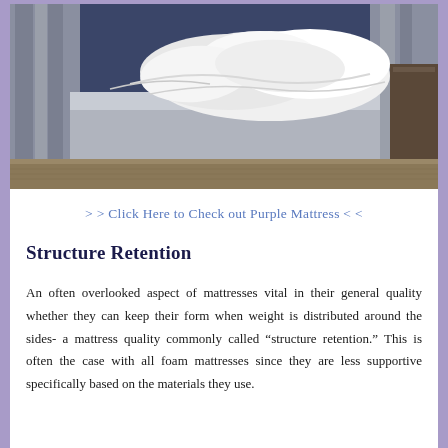[Figure (photo): A bedroom scene showing a bed with white disheveled sheets and pillows on a grey upholstered bed frame with wooden legs, on a woven rug, with dark curtains in the background.]
> > Click Here to Check out Purple Mattress < <
Structure Retention
An often overlooked aspect of mattresses vital in their general quality whether they can keep their form when weight is distributed around the sides- a mattress quality commonly called “structure retention.” This is often the case with all foam mattresses since they are less supportive specifically based on the materials they use.